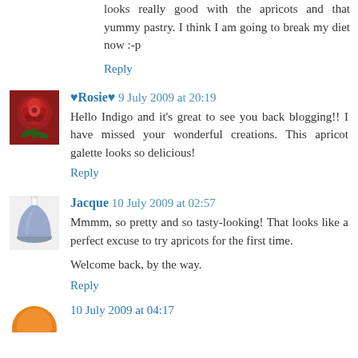looks really good with the apricots and that yummy pastry. I think I am going to break my diet now :-p
Reply
♥Rosie♥  9 July 2009 at 20:19
Hello Indigo and it's great to see you back blogging!! I have missed your wonderful creations. This apricot galette looks so delicious!
Reply
Jacque  10 July 2009 at 02:57
Mmmm, so pretty and so tasty-looking! That looks like a perfect excuse to try apricots for the first time.

Welcome back, by the way.
Reply
10 July 2009 at 04:17